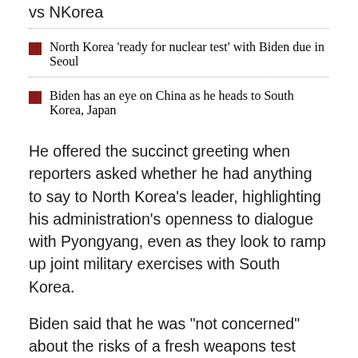vs NKorea
North Korea 'ready for nuclear test' with Biden due in Seoul
Biden has an eye on China as he heads to South Korea, Japan
He offered the succinct greeting when reporters asked whether he had anything to say to North Korea's leader, highlighting his administration's openness to dialogue with Pyongyang, even as they look to ramp up joint military exercises with South Korea.
Biden said that he was "not concerned" about the risks of a fresh weapons test while he was in the region -- something US officials have warned of repeatedly -- saying: "We are prepared for anything North Korea does."
He has spent two days with South Korea's newly elected President Yoon Suk-yeol, with the pair saying Saturday that "considering the evolving threat" from Pyongyang,